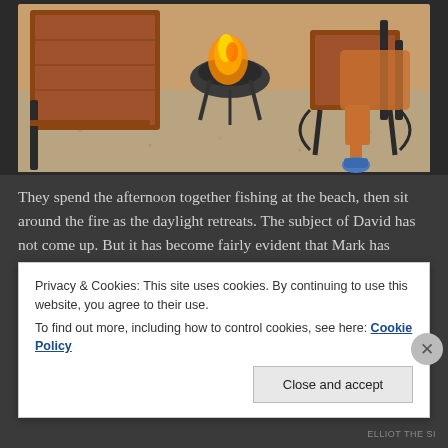[Figure (illustration): Rendered scene showing outdoor chairs, a fire pit with flame, wooden furniture, and a figure seated in a chair wearing blue shoes, on a paved ground surface.]
They spend the afternoon together fishing at the beach, then sit around the fire as the daylight retreats. The subject of David has not come up. But it has become fairly evident that Mark has deduced he is gone. While he hasn't said anything, he has glanced back at the cemetery numerous times, where a new
Privacy & Cookies: This site uses cookies. By continuing to use this website, you agree to their use.
To find out more, including how to control cookies, see here: Cookie Policy
Close and accept